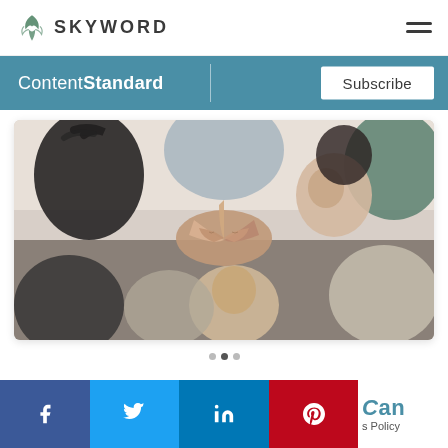SKYWORD
ContentStandard  Subscribe
[Figure (photo): Group of diverse people in a circle doing a fist bump from a low angle perspective, smiling, business casual attire, white background]
[Figure (infographic): Social media sharing bar with Facebook, Twitter, LinkedIn, Pinterest, and Email icons. Partially visible text reads 'Can' in teal and 's Policy' in gray.]